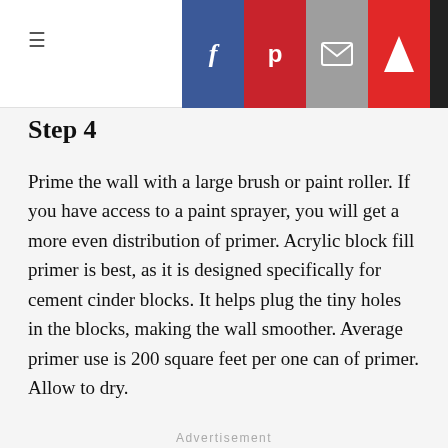≡  <  f  p  ✉  F
Step 4
Prime the wall with a large brush or paint roller. If you have access to a paint sprayer, you will get a more even distribution of primer. Acrylic block fill primer is best, as it is designed specifically for cement cinder blocks. It helps plug the tiny holes in the blocks, making the wall smoother. Average primer use is 200 square feet per one can of primer. Allow to dry.
Advertisement